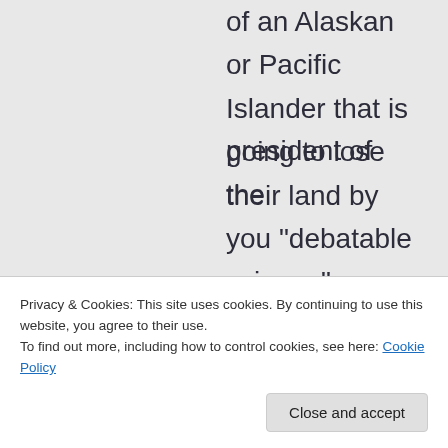of an Alaskan or Pacific Islander that is going to lose their land by you “debatable science”.
“I told them once we build the sea wall, everybody’s going to get comfortable and say we don’t need to
president of the
Privacy & Cookies: This site uses cookies. By continuing to use this website, you agree to their use.
To find out more, including how to control cookies, see here: Cookie Policy